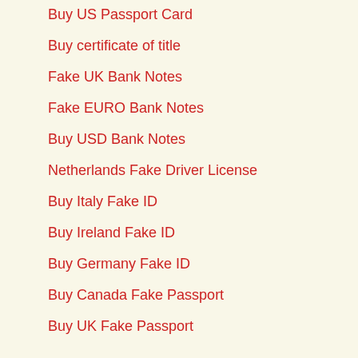Buy US Passport Card
Buy certificate of title
Fake UK Bank Notes
Fake EURO Bank Notes
Buy USD Bank Notes
Netherlands Fake Driver License
Buy Italy Fake ID
Buy Ireland Fake ID
Buy Germany Fake ID
Buy Canada Fake Passport
Buy UK Fake Passport